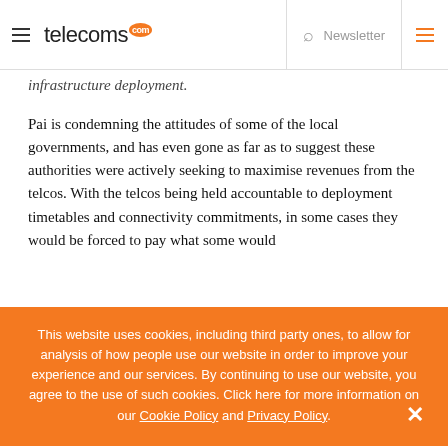telecoms.com — Newsletter
infrastructure deployment.
Pai is condemning the attitudes of some of the local governments, and has even gone as far as to suggest these authorities were actively seeking to maximise revenues from the telcos. With the telcos being held accountable to deployment timetables and connectivity commitments, in some cases they would be forced to pay what some would
This website uses cookies, including third party ones, to allow for analysis of how people use our website in order to improve your experience and our services. By continuing to use our website, you agree to the use of such cookies. Click here for more information on our Cookie Policy and Privacy Policy.